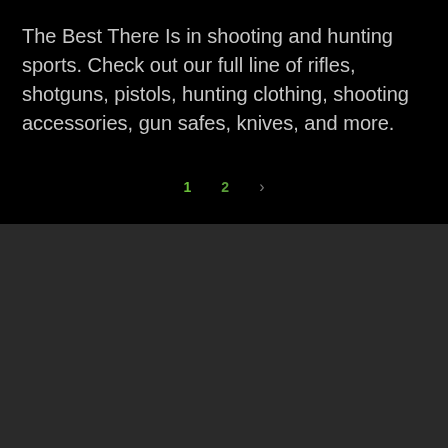The Best There Is in shooting and hunting sports. Check out our full line of rifles, shotguns, pistols, hunting clothing, shooting accessories, gun safes, knives, and more.
1  2  >
We use cookies to offer you a better browsing experience, analyze site traffic and personalize content. Read about how we use cookies and how you can control them in our Cookie Policy. If you continue to use this site, you consent to our use of cookies.
OK